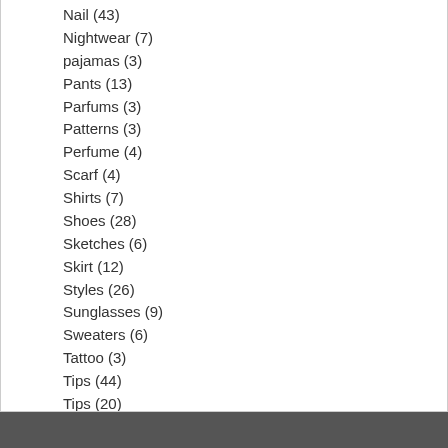Nail (43)
Nightwear (7)
pajamas (3)
Pants (13)
Parfums (3)
Patterns (3)
Perfume (4)
Scarf (4)
Shirts (7)
Shoes (28)
Sketches (6)
Skirt (12)
Styles (26)
Sunglasses (9)
Sweaters (6)
Tattoo (3)
Tips (44)
Tips (20)
Underwear (11)
Victoria's Secret Pink (1)
Wedding (114)
wedding dress 2013 (6)